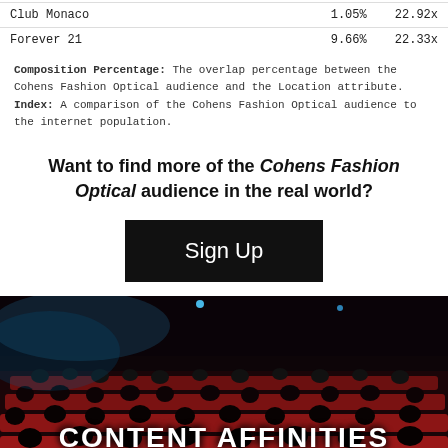|  | Composition % | Index |
| --- | --- | --- |
| Club Monaco | 1.05% | 22.92x |
| Forever 21 | 9.66% | 22.33x |
Composition Percentage: The overlap percentage between the Cohens Fashion Optical audience and the Location attribute.
Index: A comparison of the Cohens Fashion Optical audience to the internet population.
Want to find more of the Cohens Fashion Optical audience in the real world?
[Figure (other): Black Sign Up button]
[Figure (photo): Cinema audience seated in red seats viewed from behind, dark auditorium with stage lighting]
CONTENT AFFINITIES